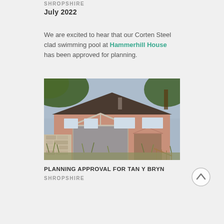SHROPSHIRE
July 2022
We are excited to hear that our Corten Steel clad swimming pool at Hammerhill House has been approved for planning.
[Figure (photo): Architectural rendering of a house with a glass extension, stone wall, and trees in the foreground]
PLANNING APPROVAL FOR TAN Y BRYN
SHROPSHIRE